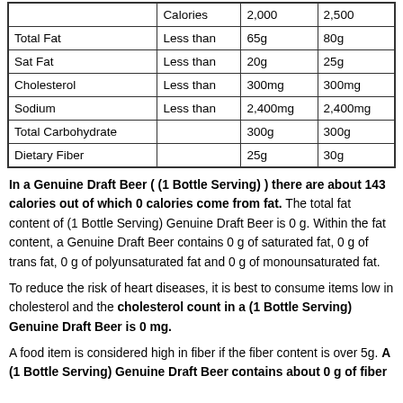|  |  | 2,000 | 2,500 |
| --- | --- | --- | --- |
|  | Calories | 2,000 | 2,500 |
| Total Fat | Less than | 65g | 80g |
| Sat Fat | Less than | 20g | 25g |
| Cholesterol | Less than | 300mg | 300mg |
| Sodium | Less than | 2,400mg | 2,400mg |
| Total Carbohydrate |  | 300g | 300g |
| Dietary Fiber |  | 25g | 30g |
In a Genuine Draft Beer ( (1 Bottle Serving) ) there are about 143 calories out of which 0 calories come from fat. The total fat content of (1 Bottle Serving) Genuine Draft Beer is 0 g. Within the fat content, a Genuine Draft Beer contains 0 g of saturated fat, 0 g of trans fat, 0 g of polyunsaturated fat and 0 g of monounsaturated fat.
To reduce the risk of heart diseases, it is best to consume items low in cholesterol and the cholesterol count in a (1 Bottle Serving) Genuine Draft Beer is 0 mg.
A food item is considered high in fiber if the fiber content is over 5g. A (1 Bottle Serving) Genuine Draft Beer contains about 0 g of fiber